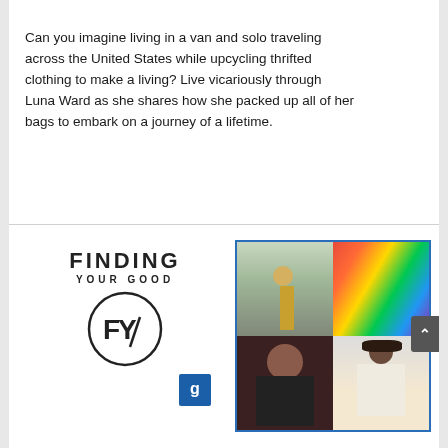Can you imagine living in a van and solo traveling across the United States while upcycling thrifted clothing to make a living? Live vicariously through Luna Ward as she shares how she packed up all of her bags to embark on a journey of a lifetime.
[Figure (logo): Finding Your Good logo with circle FYG monogram and Goodwill badge]
[Figure (photo): 2x2 photo grid with blue border showing: top-left person walking outside building, top-right colorful rainbow bus/truck, bottom-left woman with dark hair and necklace, bottom-right woman in white lace outfit with hat]